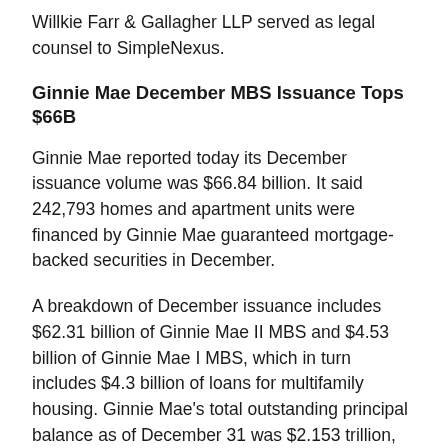Willkie Farr & Gallagher LLP served as legal counsel to SimpleNexus.
Ginnie Mae December MBS Issuance Tops $66B
Ginnie Mae reported today its December issuance volume was $66.84 billion. It said 242,793 homes and apartment units were financed by Ginnie Mae guaranteed mortgage-backed securities in December.
A breakdown of December issuance includes $62.31 billion of Ginnie Mae II MBS and $4.53 billion of Ginnie Mae I MBS, which in turn includes $4.3 billion of loans for multifamily housing. Ginnie Mae's total outstanding principal balance as of December 31 was $2.153 trillion, up from $2.143 trillion in the prior month, and up slightly from $2.103 trillion in